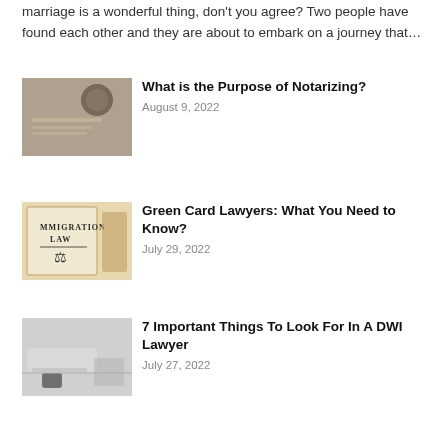marriage is a wonderful thing, don't you agree? Two people have found each other and they are about to embark on a journey that…
[Figure (photo): Photo of a notary stamp/seal on documents]
What is the Purpose of Notarizing?
August 9, 2022
[Figure (photo): Photo of Immigration Law book with scales of justice]
Green Card Lawyers: What You Need to Know?
July 29, 2022
[Figure (photo): Photo of a gavel and legal documents on a desk]
7 Important Things To Look For In A DWI Lawyer
July 27, 2022
[Figure (photo): Photo of Alan Pardew holding a trophy]
Newcastle's Pardew Highs and Lows
July 26, 2022
[Figure (photo): Photo related to car accident injury]
7 Questions to Ask a Car Accident Injury